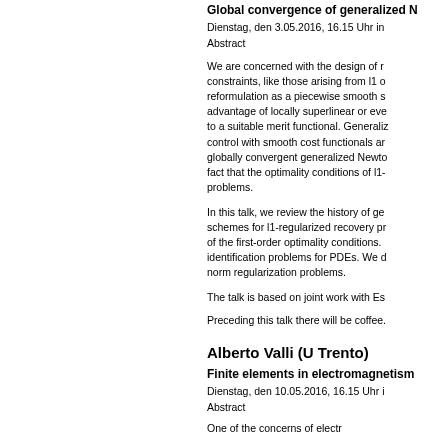Global convergence of generalized N...
Dienstag, den 3.05.2016, 16.15 Uhr i...
Abstract
We are concerned with the design of r... constraints, like those arising from l1 o... reformulation as a piecewise smooth s... advantage of locally superlinear or eve... to a suitable merit functional. Generaliz... control with smooth cost functionals ar... globally convergent generalized Newto... fact that the optimality conditions of l1-... problems.
In this talk, we review the history of ge... schemes for l1-regularized recovery pr... of the first-order optimality conditions. ... identification problems for PDEs. We d... norm regularization problems.
The talk is based on joint work with Es...
Preceding this talk there will be coffee...
Alberto Valli (U Trento)
Finite elements in electromagnetism...
Dienstag, den 10.05.2016, 16.15 Uhr i...
Abstract
One of the concerns of electr...